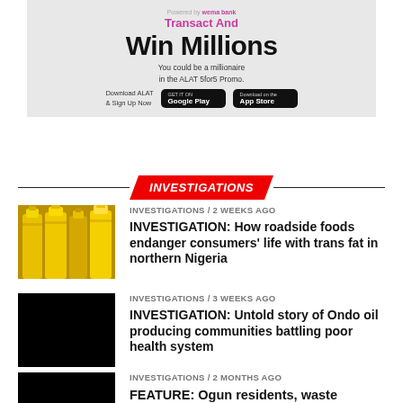[Figure (illustration): Advertisement banner: Transact And Win Millions - ALAT 5for5 Promo, with Google Play and App Store download buttons on grey background]
INVESTIGATIONS
INVESTIGATIONS / 2 weeks ago
INVESTIGATION: How roadside foods endanger consumers' life with trans fat in northern Nigeria
INVESTIGATIONS / 3 weeks ago
INVESTIGATION: Untold story of Ondo oil producing communities battling poor health system
INVESTIGATIONS / 2 months ago
FEATURE: Ogun residents, waste